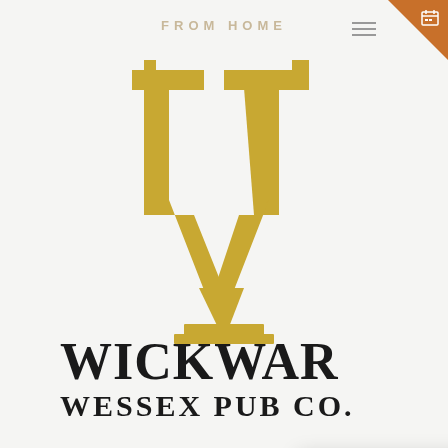FROM HOME
[Figure (logo): Wickwar Wessex Pub Co. large golden W lettermark logo]
WICKWAR
WESSEX PUB CO.
can deny th
pub provide
your comfor
out the world and relax. Its the escape that
your details should you need to be contacted.
Cookie settings   ACCEPT